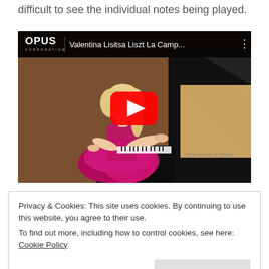difficult to see the individual notes being played.
[Figure (screenshot): YouTube video embed showing Valentina Lisitsa playing piano in a red dress at a Steinway & Sons grand piano. Video title reads 'Valentina Lisitsa Liszt La Camp...' with OPUS CORPORATION logo on top bar and YouTube play button in center.]
LISTEN
Privacy & Cookies: This site uses cookies. By continuing to use this website, you agree to their use. To find out more, including how to control cookies, see here: Cookie Policy
[Figure (photo): Bottom strip showing a partial image of a person.]